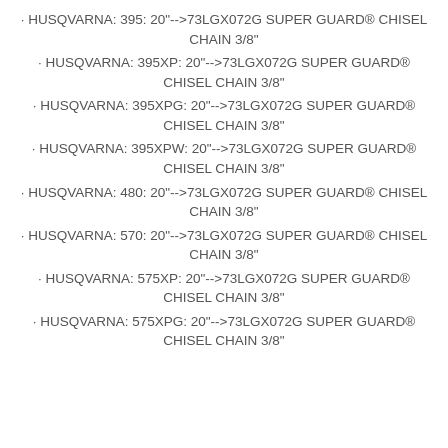· HUSQVARNA: 395: 20"-->73LGX072G SUPER GUARD® CHISEL CHAIN 3/8"
· HUSQVARNA: 395XP: 20"-->73LGX072G SUPER GUARD® CHISEL CHAIN 3/8"
· HUSQVARNA: 395XPG: 20"-->73LGX072G SUPER GUARD® CHISEL CHAIN 3/8"
· HUSQVARNA: 395XPW: 20"-->73LGX072G SUPER GUARD® CHISEL CHAIN 3/8"
· HUSQVARNA: 480: 20"-->73LGX072G SUPER GUARD® CHISEL CHAIN 3/8"
· HUSQVARNA: 570: 20"-->73LGX072G SUPER GUARD® CHISEL CHAIN 3/8"
· HUSQVARNA: 575XP: 20"-->73LGX072G SUPER GUARD® CHISEL CHAIN 3/8"
· HUSQVARNA: 575XPG: 20"-->73LGX072G SUPER GUARD® CHISEL CHAIN 3/8"